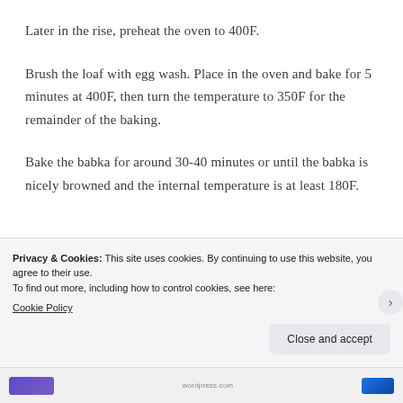Later in the rise, preheat the oven to 400F.
Brush the loaf with egg wash. Place in the oven and bake for 5 minutes at 400F, then turn the temperature to 350F for the remainder of the baking.
Bake the babka for around 30-40 minutes or until the babka is nicely browned and the internal temperature is at least 180F.
Privacy & Cookies: This site uses cookies. By continuing to use this website, you agree to their use.
To find out more, including how to control cookies, see here: Cookie Policy
[Close and accept]